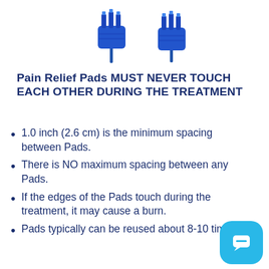[Figure (photo): Two blue TENS/EMS electrode pad connectors with wire leads on a white background]
Pain Relief Pads MUST NEVER TOUCH EACH OTHER DURING THE TREATMENT
1.0 inch (2.6 cm) is the minimum spacing between Pads.
There is NO maximum spacing between any Pads.
If the edges of the Pads touch during the treatment, it may cause a burn.
Pads typically can be reused about 8-10 times.